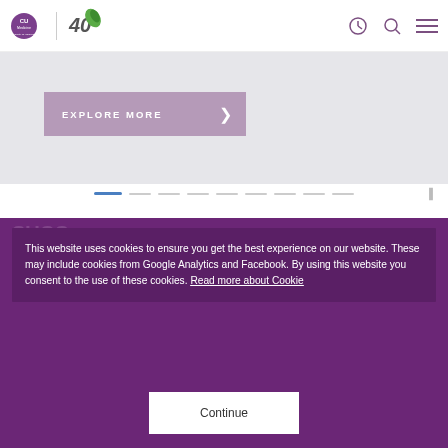[Figure (logo): Chulalongkorn University Faculty of Medicine CU Medicine logo with 40th anniversary leaf logo]
[Figure (screenshot): Website banner with light gray background and EXPLORE MORE button in mauve/purple color with right arrow]
[Figure (infographic): Slideshow pagination dots: first dot active (blue), followed by 8 inactive gray dots]
This website uses cookies to ensure you get the best experience on our website. These may include cookies from Google Analytics and Facebook. By using this website you consent to the use of these cookies. Read more about Cookie
Continue